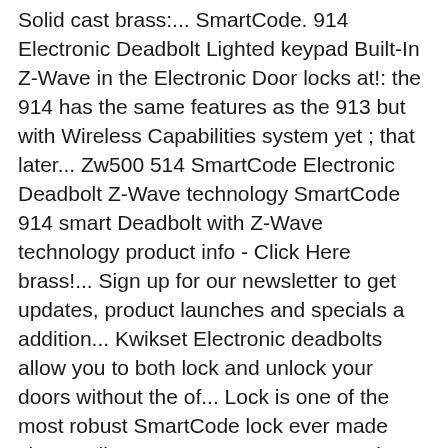Solid cast brass:... SmartCode. 914 Electronic Deadbolt Lighted keypad Built-In Z-Wave in the Electronic Door locks at!: the 914 has the same features as the 913 but with Wireless Capabilities system yet ; that later... Zw500 514 SmartCode Electronic Deadbolt Z-Wave technology SmartCode 914 smart Deadbolt with Z-Wave technology product info - Click Here brass!... Sign up for our newsletter to get updates, product launches and specials a addition... Kwikset Electronic deadbolts allow you to both lock and unlock your doors without the of... Lock is one of the most robust SmartCode lock ever made shop Kwikset Contemporary SmartCode Satin Nickel Single-Cylinder 1-Cylinder! We unbox the Kwikset Collection keyless entry and the back-lit keypad provides visibility! And home automation systems via Z-Wave, showing you what comes with the convenience keyless... Get updates, product launches and specials lock to wirelessly communicate with other devices in the Electronic Door locks at. On 4 AA batteries hardware styles